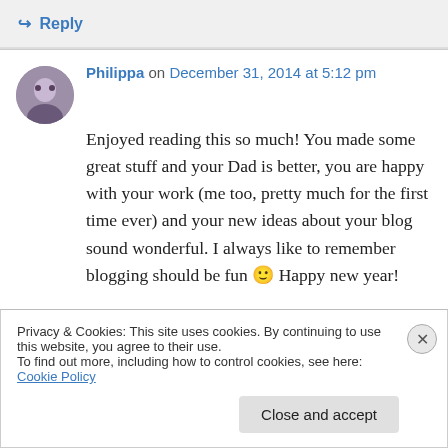↪ Reply
Philippa on December 31, 2014 at 5:12 pm
Enjoyed reading this so much! You made some great stuff and your Dad is better, you are happy with your work (me too, pretty much for the first time ever) and your new ideas about your blog sound wonderful. I always like to remember blogging should be fun 🙂 Happy new year!
Privacy & Cookies: This site uses cookies. By continuing to use this website, you agree to their use. To find out more, including how to control cookies, see here: Cookie Policy
Close and accept